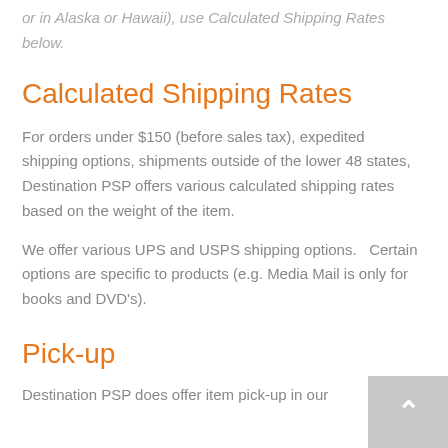or in Alaska or Hawaii), use Calculated Shipping Rates below.
Calculated Shipping Rates
For orders under $150 (before sales tax), expedited shipping options, shipments outside of the lower 48 states, Destination PSP offers various calculated shipping rates based on the weight of the item.
We offer various UPS and USPS shipping options.   Certain options are specific to products (e.g. Media Mail is only for books and DVD's).
Pick-up
Destination PSP does offer item pick-up in our